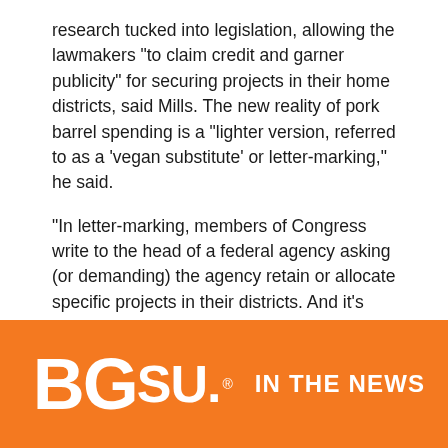research tucked into legislation, allowing the lawmakers "to claim credit and garner publicity" for securing projects in their home districts, said Mills. The new reality of pork barrel spending is a "lighter version, referred to as a 'vegan substitute' or letter-marking," he said.
"In letter-marking, members of Congress write to the head of a federal agency asking (or demanding) the agency retain or allocate specific projects in their districts. And it's actually less transparent than earmarking," Mills and Kalaf-Hughs explained in the Washington Post article.
CONTINUE READING
[Figure (logo): BGSU IN THE NEWS logo on orange background. Large white bold text 'BG' followed by smaller 'SU.' with registered trademark symbol, then 'IN THE NEWS' in white bold uppercase text.]